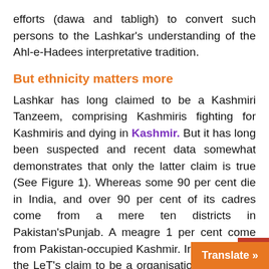efforts (dawa and tabligh) to convert such persons to the Lashkar's understanding of the Ahl-e-Hadees interpretative tradition.
But ethnicity matters more
Lashkar has long claimed to be a Kashmiri Tanzeem, comprising Kashmiris fighting for Kashmiris and dying in Kashmir. But it has long been suspected and recent data somewhat demonstrates that only the latter claim is true (See Figure 1). Whereas some 90 per cent die in India, and over 90 per cent of its cadres come from a mere ten districts in Pakistan'sPunjab. A meagre 1 per cent come from Pakistan-occupied Kashmir. Irrespective of the LeT's claim to be a organisation, it is by all measur